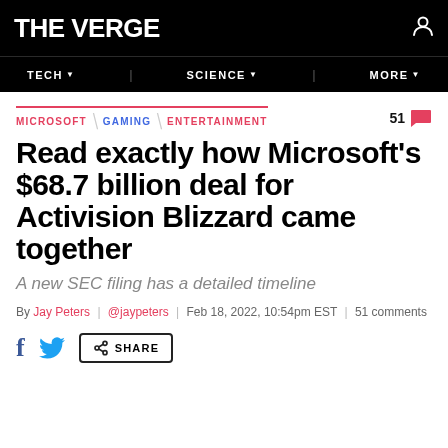THE VERGE
TECH | SCIENCE | MORE
MICROSOFT \ GAMING \ ENTERTAINMENT   51
Read exactly how Microsoft's $68.7 billion deal for Activision Blizzard came together
A new SEC filing has a detailed timeline
By Jay Peters | @jaypeters | Feb 18, 2022, 10:54pm EST | 51 comments
SHARE